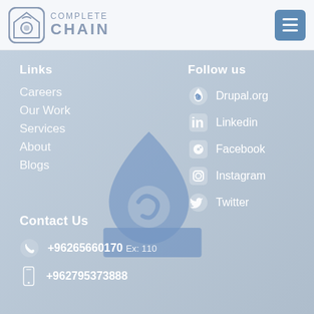[Figure (logo): Complete Chain logo with house/camera icon and company name]
Links
Careers
Our Work
Services
About
Blogs
Follow us
Drupal.org
Linkedin
Facebook
Instagram
Twitter
Contact Us
+96265660170 Ex: 110
+962795373888